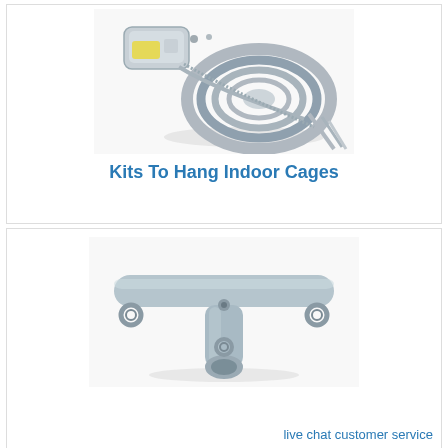[Figure (photo): A coiled wire/cable kit with bundled accessories for hanging indoor cages, shown on white background]
Kits To Hang Indoor Cages
[Figure (photo): A T-shaped metal bracket/mount in light grey/blue color with ring hooks at each end, used for hanging cages]
live chat customer service